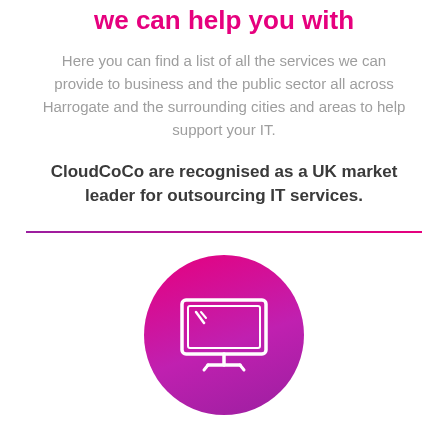we can help you with
Here you can find a list of all the services we can provide to business and the public sector all across Harrogate and the surrounding cities and areas to help support your IT.
CloudCoCo are recognised as a UK market leader for outsourcing IT services.
[Figure (illustration): Pink/magenta gradient circle containing a white outline icon of a desktop computer monitor with a small reflection glare]